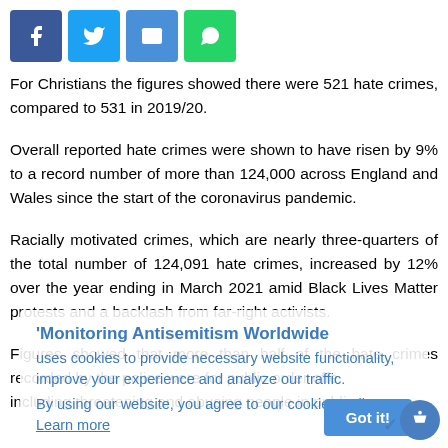[Figure (other): Social media sharing buttons: Facebook (blue), Twitter (light blue), Email (blue), WhatsApp (green)]
For Christians the figures showed there were 521 hate crimes, compared to 531 in 2019/20.
Overall reported hate crimes were shown to have risen by 9% to a record number of more than 124,000 across England and Wales since the start of the coronavirus pandemic.
Racially motivated crimes, which are nearly three-quarters of the total number of 124,091 hate crimes, increased by 12% over the year ending in March 2021 amid Black Lives Matter protests and a backlash from far-right activists.
Figures showed that more than half of the hate crimes recorded by the police were for public order offe... including threatening and abusing people in public...
Monitoring Antisemitism Worldwide uses cookies to provide necessary website functionality, improve your experience and analyze our traffic. By using our website, you agree to our cookies Policy. Learn more